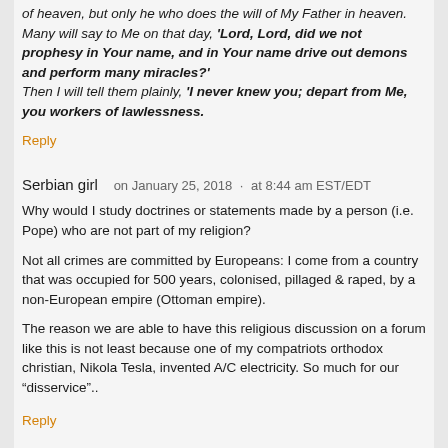of heaven, but only he who does the will of My Father in heaven. Many will say to Me on that day, 'Lord, Lord, did we not prophesy in Your name, and in Your name drive out demons and perform many miracles?' Then I will tell them plainly, 'I never knew you; depart from Me, you workers of lawlessness.'
Reply
Serbian girl    on January 25, 2018  ·  at 8:44 am EST/EDT
Why would I study doctrines or statements made by a person (i.e. Pope) who are not part of my religion?
Not all crimes are committed by Europeans: I come from a country that was occupied for 500 years, colonised, pillaged & raped, by a non-European empire (Ottoman empire).
The reason we are able to have this religious discussion on a forum like this is not least because one of my compatriots orthodox christian, Nikola Tesla, invented A/C electricity. So much for our “disservice”..
Reply